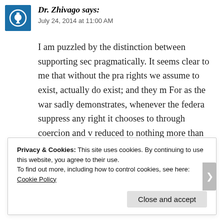Dr. Zhivago says: July 24, 2014 at 11:00 AM
I am puzzled by the distinction between supporting sec pragmatically. It seems clear to me that without the pra rights we assume to exist, actually do exist; and they m For as the war sadly demonstrates, whenever the federa suppress any right it chooses to through coercion and v reduced to nothing more than privileges the goverment the right of secession and self-determination exist only they will not, and cannot, help preserve the freedoms a inherited as their natural birthright.
★ Like
Privacy & Cookies: This site uses cookies. By continuing to use this website, you agree to their use. To find out more, including how to control cookies, see here: Cookie Policy
Close and accept